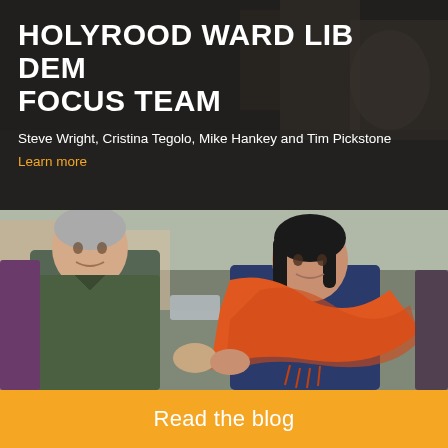HOLYROOD WARD LIB DEM FOCUS TEAM
Steve Wright, Cristina Tegolo, Mike Hankey and Tim Pickstone
Learn more
[Figure (photo): Two people standing on a street — an older man in a green quilted jacket and a woman in a navy outfit with a bright orange scarf/wrap, shaking hands or standing close together. Other people visible at the edges. Street scene with parked cars in background.]
Read the blog